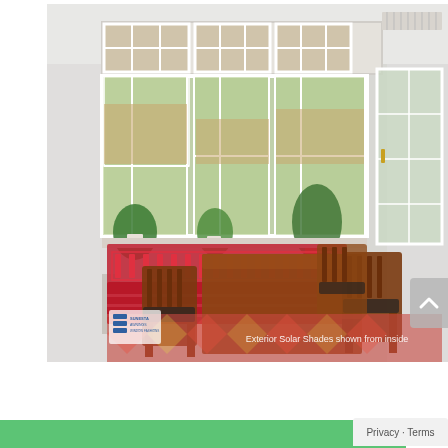[Figure (photo): Interior photo of a bright sunroom/dining area with large multi-pane windows fitted with woven exterior solar shades (shown from inside). The room features a wooden dining table with mission-style chairs, a red upholstered banquette with decorative railing, potted plants on the windowsill, a patterned rug, and a glass door leading outside. A logo and caption 'Exterior Solar Shades shown from inside' appear in the lower portion of the photo.]
Privacy · Terms